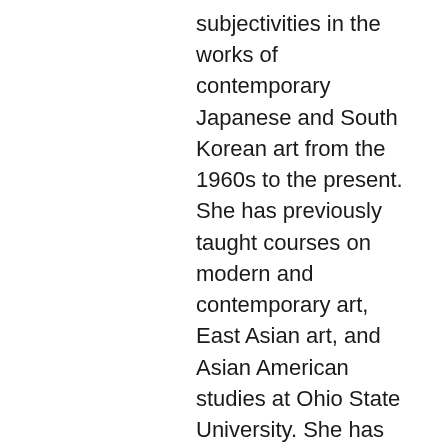subjectivities in the works of contemporary Japanese and South Korean art from the 1960s to the present. She has previously taught courses on modern and contemporary art, East Asian art, and Asian American studies at Ohio State University. She has organized panels and presented her work on Asian American art at national conferences such as CAA. She is an active member of numerous grassroots community organizations for Asian Americans and immigrant rights, and she is involved in immigrant rights campaigns such as Love has no borders: A call for justice in our immigration system. Her essay, “Constructing Asian American Political and Aesthetic Subjectivities: Contradictions in the